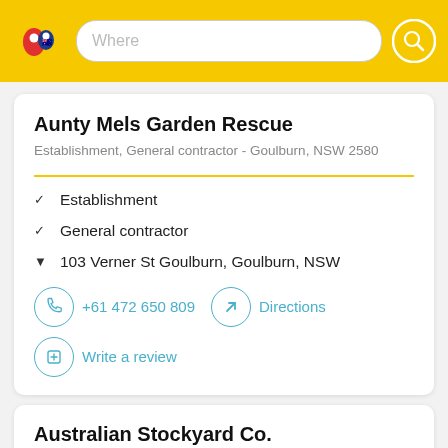Where [search bar with logo and search button]
Aunty Mels Garden Rescue
Establishment, General contractor - Goulburn, NSW 2580
✓  Establishment
✓  General contractor
▼  103 Verner St Goulburn, Goulburn, NSW
+61 472 650 809
Directions
Write a review
Australian Stockyard Co.